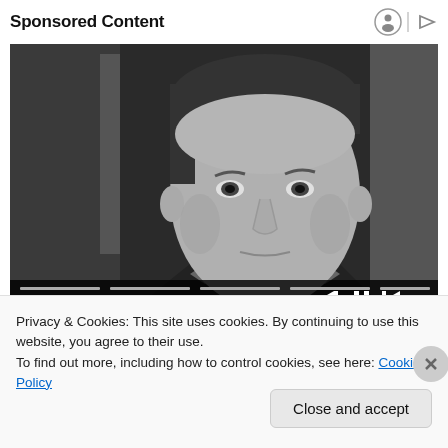Sponsored Content
[Figure (screenshot): Black and white video player showing a close-up of a man's face in a vintage film scene, with playback controls (skip back, pause, skip forward) visible at the bottom right and a progress bar at the bottom.]
Privacy & Cookies: This site uses cookies. By continuing to use this website, you agree to their use.
To find out more, including how to control cookies, see here: Cookie Policy
Close and accept